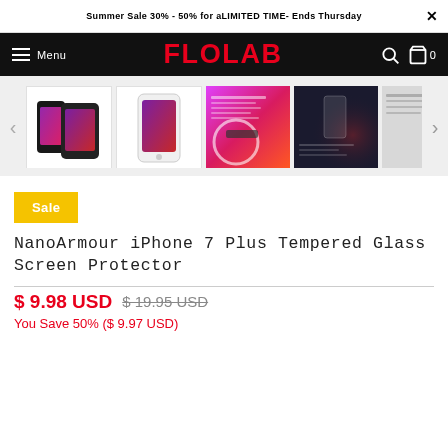Summer Sale 30% - 50% for a LIMITED TIME - Ends Thursday
[Figure (screenshot): FLOLAB e-commerce navigation bar with hamburger menu, FLOLAB logo in red, search and cart icons]
[Figure (photo): Product image carousel showing NanoArmour iPhone 7 Plus Tempered Glass Screen Protector from multiple angles and marketing images]
Sale
NanoArmour iPhone 7 Plus Tempered Glass Screen Protector
$ 9.98 USD  $ 19.95 USD
You Save 50% ($ 9.97 USD)